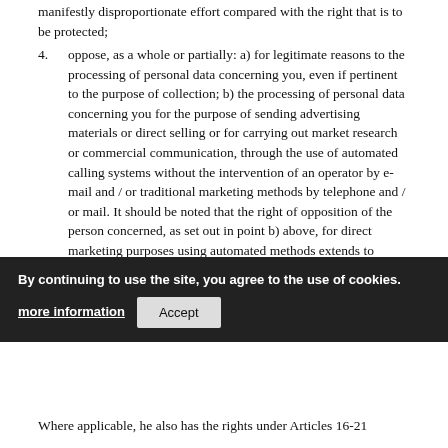manifestly disproportionate effort compared with the right that is to be protected;
4.  oppose, as a whole or partially: a) for legitimate reasons to the processing of personal data concerning you, even if pertinent to the purpose of collection; b) the processing of personal data concerning you for the purpose of sending advertising materials or direct selling or for carrying out market research or commercial communication, through the use of automated calling systems without the intervention of an operator by e-mail and / or traditional marketing methods by telephone and / or mail. It should be noted that the right of opposition of the person concerned, as set out in point b) above, for direct marketing purposes using automated methods extends to traditional ones and that, in any case, the possibility for the person concerned to exercise the right of opposition even partially. Therefore, the interested party may decide to receive only communications by traditional means or types of ...
Where applicable, he also has the rights under Articles 16-21